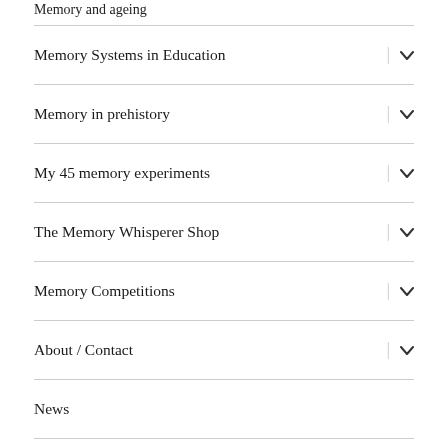Memory and ageing
Memory Systems in Education
Memory in prehistory
My 45 memory experiments
The Memory Whisperer Shop
Memory Competitions
About / Contact
News
Lynne Kelly / Proudly powered by WordPress